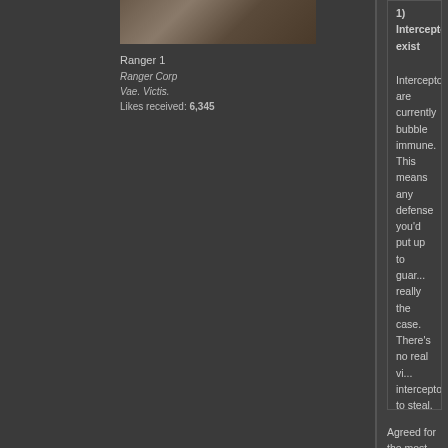[Figure (photo): User avatar image showing a character with dark clothing]
Ranger 1
Ranger Corp
Vae. Victis.
Likes received: 6,345
1) Interceptors exist
Interceptors are currently bubble immune. This means any defense you'd put up to guard your assets is not really the case. There's no real vi... interceptor to steal, warp out, and... more of an issue that giving bubb... balance here not work.
2) A massive inbalance in the risk...
You're asking people to risk 15%... 1: you can't really do anything to ... not enough for people to want to ... you're suddenly going to get a lot... spread about the people dumb en... your space, losing you the money... safe up because hostiles are in y...
Agreed for the most part, but there are a...
1: The delay involved while the tags are... they are holed up in a POS somewhere...